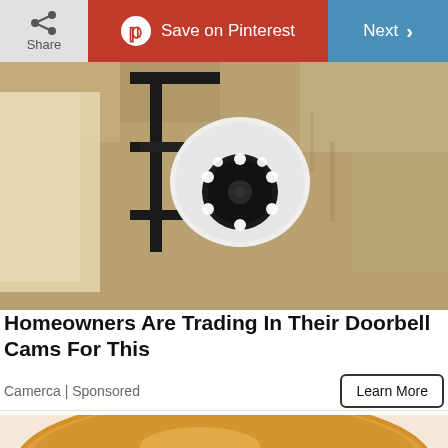[Figure (screenshot): Top navigation bar with Share button, Save on Pinterest button (red), and Next button (blue)]
[Figure (photo): Security camera mounted on an exterior wall — a white spherical camera on a black metal mount bracket attached to a beige textured wall]
Homeowners Are Trading In Their Doorbell Cams For This
Camerca | Sponsored
[Figure (photo): Cheeseburger with two beef patties, melted cheese, and vegetables on a sesame bun, placed on red and white patterned paper wrapper]